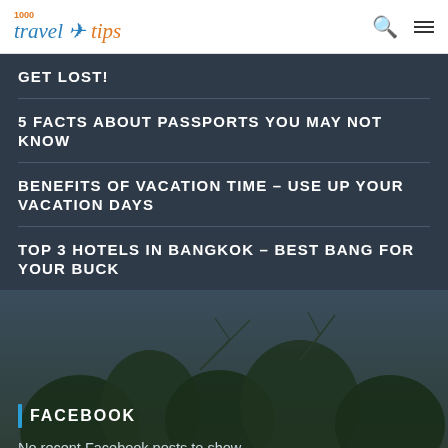[Figure (logo): 1000 Travel Tips logo with airplane icon, blue and orange text]
GET LOST!
5 FACTS ABOUT PASSPORTS YOU MAY NOT KNOW
BENEFITS OF VACATION TIME – USE UP YOUR VACATION DAYS
TOP 3 HOTELS IN BANGKOK – BEST BANG FOR YOUR BUCK
FACEBOOK
No recent Facebook posts to show
Find us on Facebook